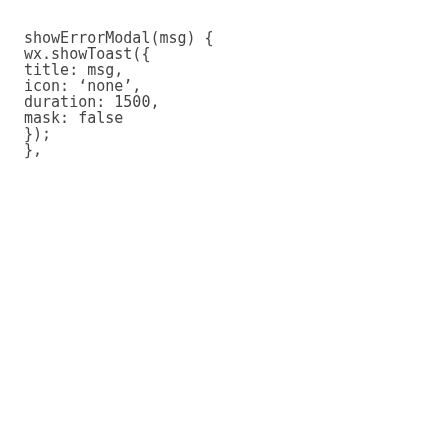showErrorModal(msg) {

wx.showToast({

title: msg,

icon: ‘none’,

duration: 1500,

mask: false

});

},